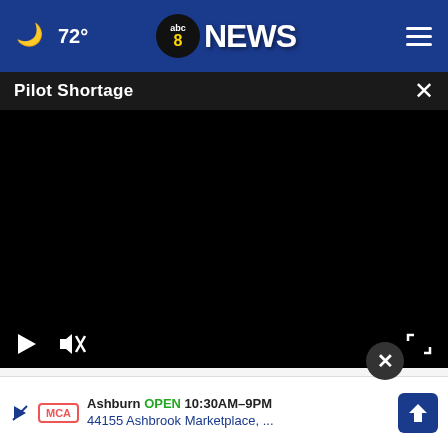☁ 72° | abc8NEWS | ≡
Pilot Shortage
[Figure (screenshot): Black video player area with play button, mute button, and fullscreen icon controls at the bottom]
season nears, airlines are facing an industry-wide shortage of pilots, escalated by early retirements during [the pandemic] and significant training requirements.
[Figure (infographic): Advertisement overlay: Ashburn OPEN 10:30AM-9PM 44155 Ashbrook Marketplace, ... with MCA logo and directions icon]